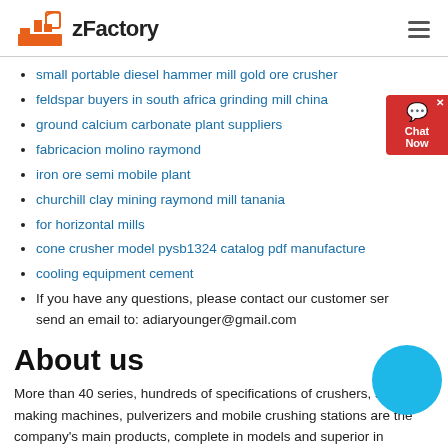zFactory
small portable diesel hammer mill gold ore crusher
feldspar buyers in south africa grinding mill china
ground calcium carbonate plant suppliers
fabricacion molino raymond
iron ore semi mobile plant
churchill clay mining raymond mill tanania
for horizontal mills
cone crusher model pysb1324 catalog pdf manufacture
cooling equipment cement
If you have any questions, please contact our customer service or send an email to: adiaryounger@gmail.com
About us
More than 40 series, hundreds of specifications of crushers, sand making machines, pulverizers and mobile crushing stations are the company's main products, complete in models and superior in